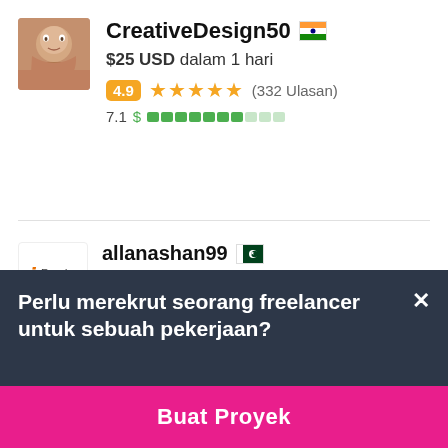CreativeDesign50 🇮🇳
$25 USD dalam 1 hari
4.9 ★★★★★ (332 Ulasan)
7.1 $ ▇▇▇▇▇▇▇░░░
allanashan99 🇵🇰
5.0 ★★★★★ (126 Ulasan)
Perlu merekrut seorang freelancer untuk sebuah pekerjaan?
Buat Proyek